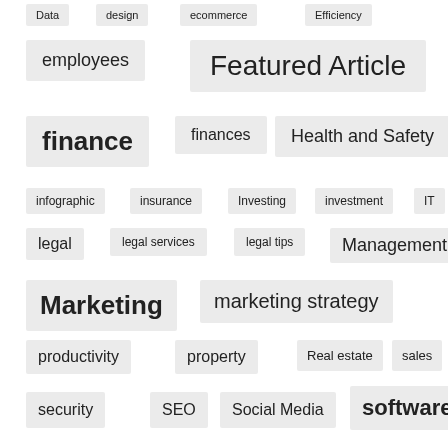Data
design
ecommerce
Efficiency
employees
Featured Article
finance
finances
Health and Safety
infographic
insurance
Investing
investment
IT
legal
legal services
legal tips
Management
Marketing
marketing strategy
productivity
property
Real estate
sales
security
SEO
Social Media
software